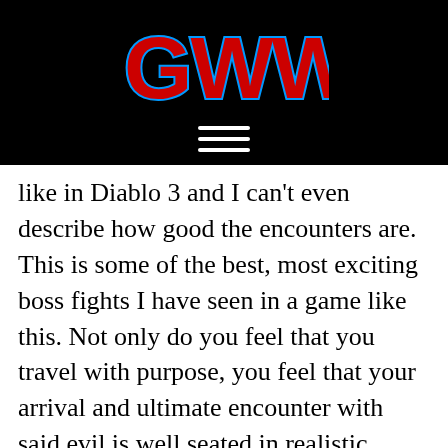[Figure (logo): GWW logo in red block letters with blue outline on black background]
like in Diablo 3 and I can't even describe how good the encounters are. This is some of the best, most exciting boss fights I have seen in a game like this. Not only do you feel that you travel with purpose, you feel that your arrival and ultimate encounter with said evil is well seated in realistic fashion as music peaks and the environment allows you to participate on a whole new level with what it means to vanquish